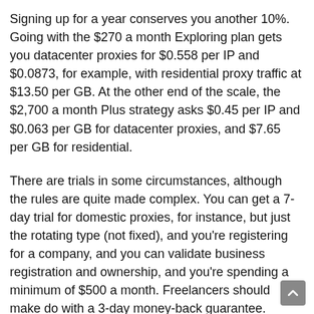Signing up for a year conserves you another 10%. Going with the $270 a month Exploring plan gets you datacenter proxies for $0.558 per IP and $0.0873, for example, with residential proxy traffic at $13.50 per GB. At the other end of the scale, the $2,700 a month Plus strategy asks $0.45 per IP and $0.063 per GB for datacenter proxies, and $7.65 per GB for residential.
There are trials in some circumstances, although the rules are quite made complex. You can get a 7-day trial for domestic proxies, for instance, but just the rotating type (not fixed), and you're registering for a company, and you can validate business registration and ownership, and you're spending a minimum of $500 a month. Freelancers should make do with a 3-day money-back guarantee.